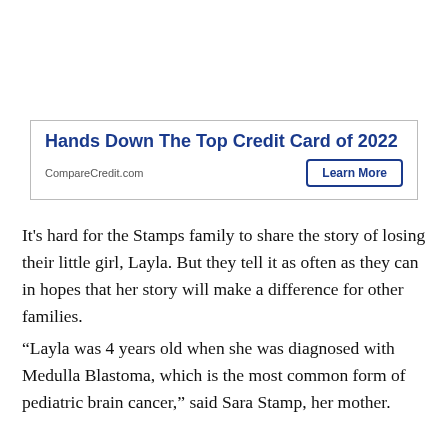[Figure (other): Advertisement box: 'Hands Down The Top Credit Card of 2022' from CompareCredit.com with a 'Learn More' button]
It's hard for the Stamps family to share the story of losing their little girl, Layla. But they tell it as often as they can in hopes that her story will make a difference for other families.
“Layla was 4 years old when she was diagnosed with Medulla Blastoma, which is the most common form of pediatric brain cancer,” said Sara Stamp, her mother.
That was Oct. 18, 2016. Everything changed for Pa...